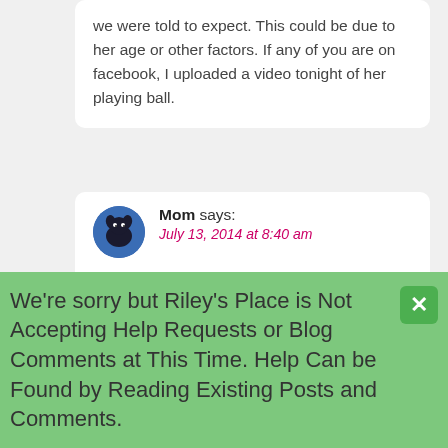we were told to expect. This could be due to her age or other factors. If any of you are on facebook, I uploaded a video tonight of her playing ball.
Mom says: July 13, 2014 at 8:40 am

Hi Matt,

Every time you share Athena's updates with us I smile :) She's doing amazingly well! For everyone's benefit, not all dogs will recover at Athena's speed so do not expect a miracle recovery which Athena's kind of is in my mind. I think the biggest reason is that she's a youngster. Riley was 5 years old at the time of his first hip surgery and he recovered well, but not at the speed Athena has and I believe at least one of the
We're sorry but Riley's Place is Not Accepting Help Requests or Blog Comments at This Time. Help Can be Found by Reading Existing Posts and Comments.